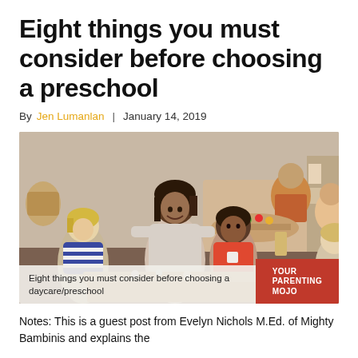Eight things you must consider before choosing a preschool
By Jen Lumanlan | January 14, 2019
[Figure (photo): A smiling female teacher leaning over a table with preschool children in a bright classroom setting. An image caption bar at the bottom reads 'Eight things you must consider before choosing a daycare/preschool' with a 'YOUR PARENTING MOJO' red logo on the right.]
Notes: This is a guest post from Evelyn Nichols M.Ed. of Mighty Bambinis and explains the